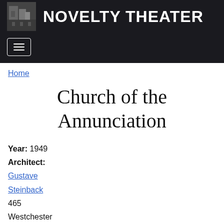NOVELTY THEATER
Home
Church of the Annunciation
Year: 1949
Architect: Gustave Steinback
465 Westchester Avenue Crestwood, NY